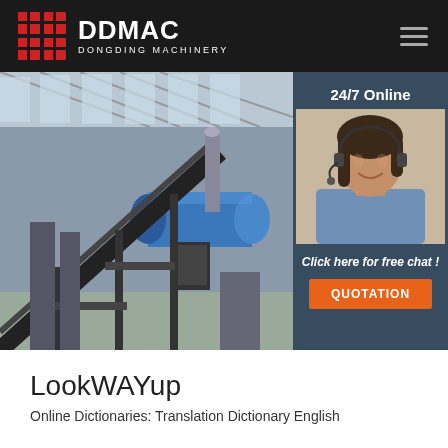DDMAC DONGDING MACHINERY
[Figure (photo): Industrial facility interior showing a large blue rotary drum/cylinder machine and a conveyor belt system inside a factory with metal roof structure. Overlay panel on the right shows a customer support representative with headset and text '24/7 Online', 'Click here for free chat!', and an orange 'QUOTATION' button.]
LookWAYup
Online Dictionaries: Translation Dictionary English